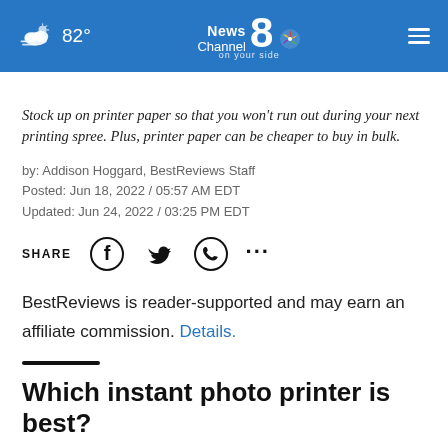82° News Channel 8 on your side
Stock up on printer paper so that you won't run out during your next printing spree. Plus, printer paper can be cheaper to buy in bulk.
by: Addison Hoggard, BestReviews Staff
Posted: Jun 18, 2022 / 05:57 AM EDT
Updated: Jun 24, 2022 / 03:25 PM EDT
SHARE [Facebook] [Twitter] [WhatsApp] [...]
BestReviews is reader-supported and may earn an affiliate commission. Details.
Which instant photo printer is best?